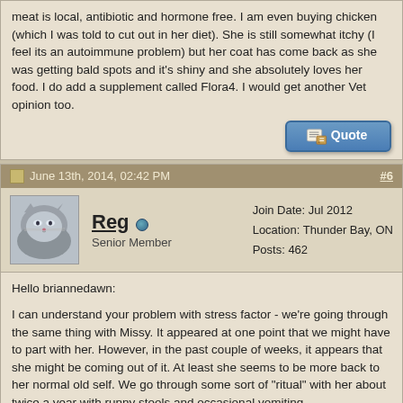meat is local, antibiotic and hormone free. I am even buying chicken (which I was told to cut out in her diet). She is still somewhat itchy (I feel its an autoimmune problem) but her coat has come back as she was getting bald spots and it's shiny and she absolutely loves her food. I do add a supplement called Flora4. I would get another Vet opinion too.
[Figure (other): Quote button - blue rounded button with notepad/pencil icon and 'Quote' text]
June 13th, 2014, 02:42 PM  #6
[Figure (photo): Avatar photo of a cat (grey/tabby cat resting, viewed from above)]
Reg  Senior Member
Join Date: Jul 2012
Location: Thunder Bay, ON
Posts: 462
Hello briannedawn:

I can understand your problem with stress factor - we're going through the same thing with Missy. It appeared at one point that we might have to part with her. However, in the past couple of weeks, it appears that she might be coming out of it. At least she seems to be more back to her normal old self. We go through some sort of "ritual" with her about twice a year with runny stools and occasional vomiting.

We have since put it down to the poultry protein in the kibbles that are/were causing a lot of the issues. We used to give her the odd kibble meal, and it's really a no-no with her. She has been mainly on raw food all her life since we started having issues with her at